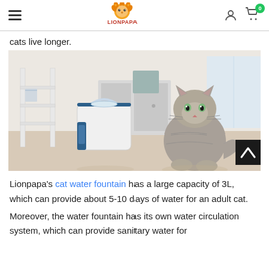LIONPAPA — navigation header with hamburger menu, logo, user icon, cart icon (0)
cats live longer.
[Figure (photo): Photo of a cat water fountain (white and dark blue square appliance) next to a gray tabby cat sitting on a light wood floor, with white furniture in the background. A scroll-to-top button (dark with chevron) overlays the bottom-right corner.]
Lionpapa's cat water fountain has a large capacity of 3L, which can provide about 5-10 days of water for an adult cat.
Moreover, the water fountain has its own water circulation system, which can provide sanitary water for